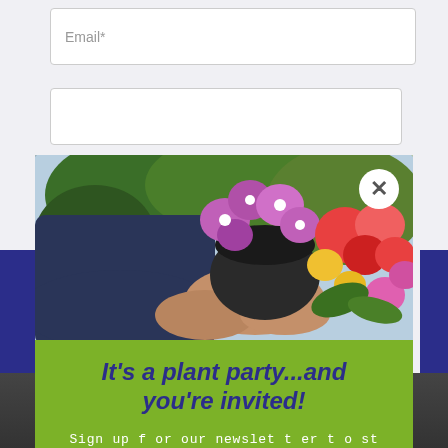Email*
[Figure (screenshot): Modal popup overlay on a website with a garden/flower nursery theme. Shows a photo of hands holding a pot of pink/purple petunias with colorful flowers in the background, a green modal box with newsletter signup.]
It's a plant party...and you're invited!
Sign up for our newsletter to stay in touch and learn more about our products!
Enter your email address
SUBSCRIBE NOW
No, thanks
Contact